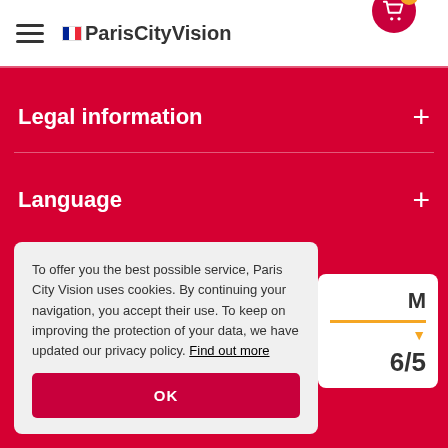ParisCityVision
Legal information
Language
To offer you the best possible service, Paris City Vision uses cookies. By continuing your navigation, you accept their use. To keep on improving the protection of your data, we have updated our privacy policy. Find out more
OK